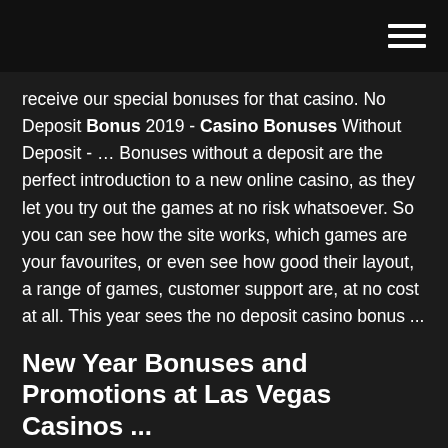receive our special bonuses for that casino. No Deposit Bonus 2019 - Casino Bonuses Without Deposit - … Bonuses without a deposit are the perfect introduction to a new online casino, as they let you try out the games at no risk whatsoever. So you can see how the site works, which games are your favourites, or even see how good their layout, a range of games, customer support are, at no cost at all. This year sees the no deposit casino bonus ...
New Year Bonuses and Promotions at Las Vegas Casinos ...
I am interested to opening a thread with christmas and a new year themed , and I hope this thread will continue to run even in December, because when entering december all